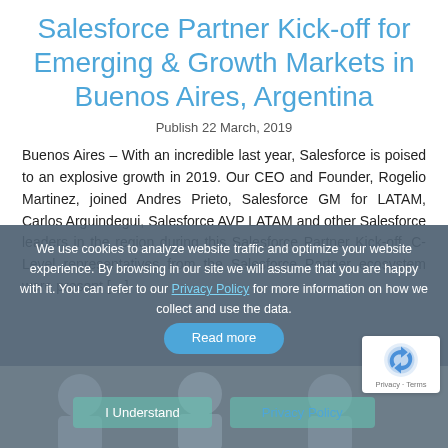Salesforce Partner Kick-off for Emerging & Growth Markets in Buenos Aires, Argentina
Publish 22 March, 2019
Buenos Aires – With an incredible last year, Salesforce is poised to an explosive growth in 2019. Our CEO and Founder, Rogelio Martinez, joined Andres Prieto, Salesforce GM for LATAM, Carlos Arguindegui, Salesforce AVP LATAM and other Salesforce leaders in the region during this Salesforce Partner Kick-off. C-Level representatives from the Salesforce Partner ecosystem were present [...]
We use cookies to analyze website traffic and optimize your website experience. By browsing in our site we will assume that you are happy with it. You can refer to our Privacy Policy for more information on how we collect and use the data.
[Figure (photo): Photo strip at the bottom showing people at the event]